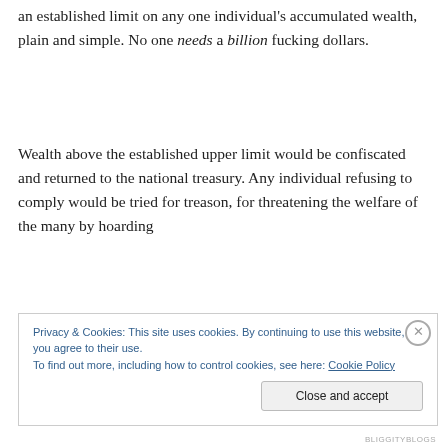an established limit on any one individual's accumulated wealth, plain and simple. No one needs a billion fucking dollars.
Wealth above the established upper limit would be confiscated and returned to the national treasury. Any individual refusing to comply would be tried for treason, for threatening the welfare of the many by hoarding
Privacy & Cookies: This site uses cookies. By continuing to use this website, you agree to their use.
To find out more, including how to control cookies, see here: Cookie Policy
Close and accept